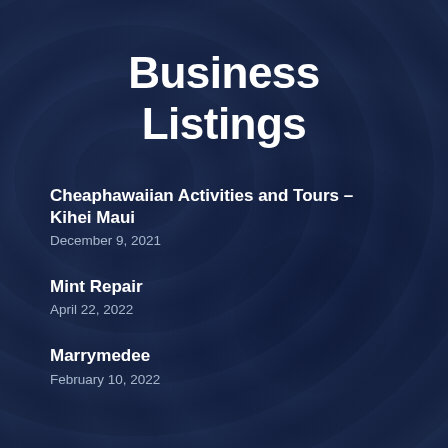Business Listings
Cheaphawaiian Activities and Tours – Kihei Maui
December 9, 2021
Mint Repair
April 22, 2022
Marrymedee
February 10, 2022